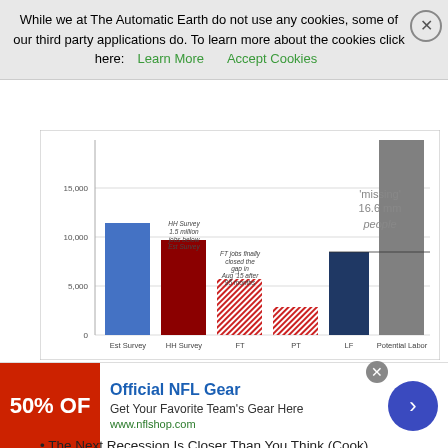While we at The Automatic Earth do not use any cookies, some of our third party applications do. To learn more about the cookies click here: Learn More  Accept Cookies
[Figure (bar-chart): Est Survey vs HH Survey vs FT/PT vs LF vs Potential Labor]
Read more …
How about Kondratieff?
• The Next Recession Is Closer Than You Think (Cook)